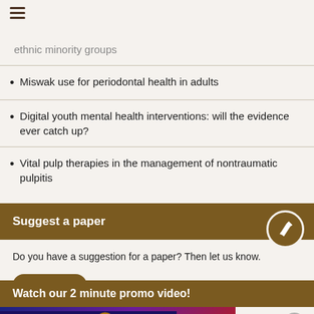Ethnic minority groups
Miswak use for periodontal health in adults
Digital youth mental health interventions: will the evidence ever catch up?
Vital pulp therapies in the management of nontraumatic pulpitis
Suggest a paper
Do you have a suggestion for a paper? Then let us know.
Click here
Watch our 2 minute promo video!
[Figure (screenshot): Video thumbnail showing animated characters at night scene with fireworks]